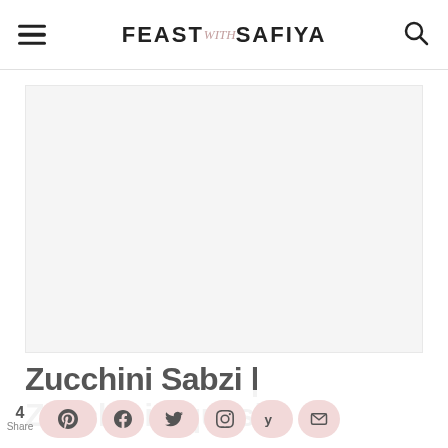FEAST with SAFIYA
[Figure (photo): Large food photo placeholder area, light gray background]
Zucchini Sabzi | Zucchini Squash
4 Share (social sharing bar with Pinterest, Facebook, Twitter, Instagram, Yummly, Email buttons)